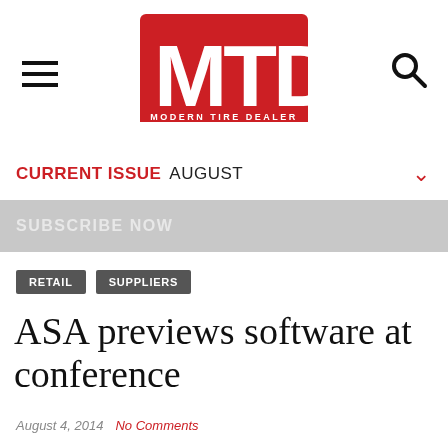[Figure (logo): MTD Modern Tire Dealer logo - red rectangle with white MTD letters and 'MODERN TIRE DEALER' text below]
CURRENT ISSUE AUGUST
SUBSCRIBE NOW
RETAIL   SUPPLIERS
ASA previews software at conference
August 4, 2014   No Comments